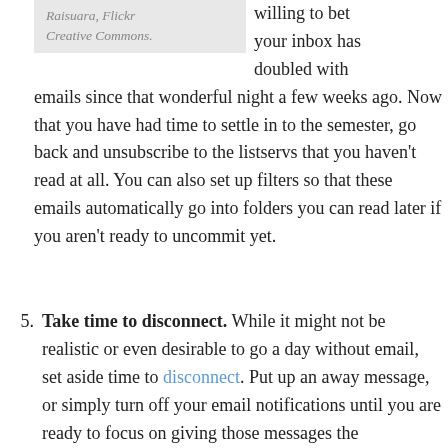Raisuara, Flickr Creative Commons.
willing to bet your inbox has doubled with emails since that wonderful night a few weeks ago. Now that you have had time to settle in to the semester, go back and unsubscribe to the listservs that you haven't read at all. You can also set up filters so that these emails automatically go into folders you can read later if you aren't ready to uncommit yet.
5. Take time to disconnect. While it might not be realistic or even desirable to go a day without email, set aside time to disconnect. Put up an away message, or simply turn off your email notifications until you are ready to focus on giving those messages the